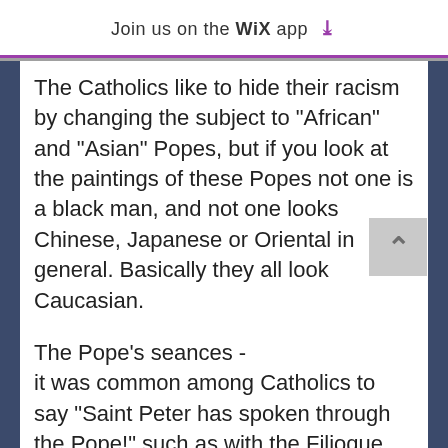Join us on the WiX app ↓
The Catholics like to hide their racism by changing the subject to "African" and "Asian" Popes, but if you look at the paintings of these Popes not one is a black man, and not one looks Chinese, Japanese or Oriental in general. Basically they all look Caucasian.
The Pope's seances -
it was common among Catholics to say "Saint Peter has spoken through the Pope!" such as with the Filioque doctrine. I regard that as spiritism, like in a seance.